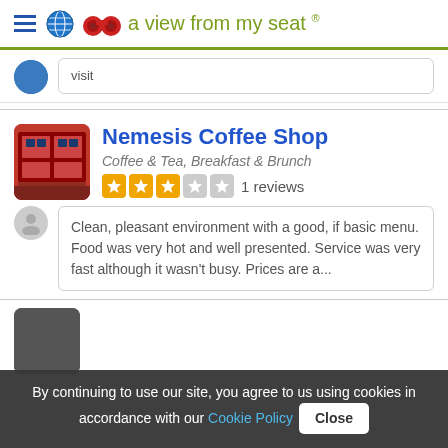a view from my seat ®
visit
Nemesis Coffee Shop
Coffee & Tea, Breakfast & Brunch
1 reviews
Clean, pleasant environment with a good, if basic menu. Food was very hot and well presented. Service was very fast although it wasn't busy. Prices are a...
By continuing to use our site, you agree to us using cookies in accordance with our Cookie Policy Close